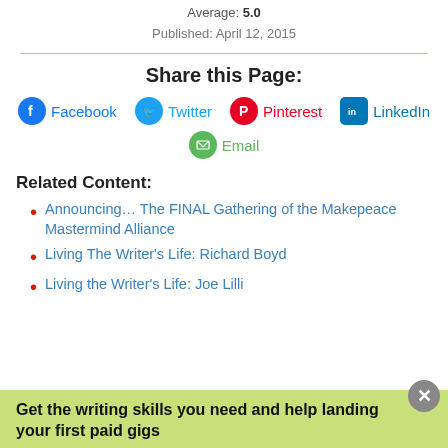Average: 5.0
Published: April 12, 2015
Share this Page:
Facebook  Twitter  Pinterest  LinkedIn  Email
Related Content:
Announcing… The FINAL Gathering of the Makepeace Mastermind Alliance
Living The Writer's Life: Richard Boyd
Living the Writer's Life: Joe Lilli
Get the writing skills you need and help landing your first paid gigs